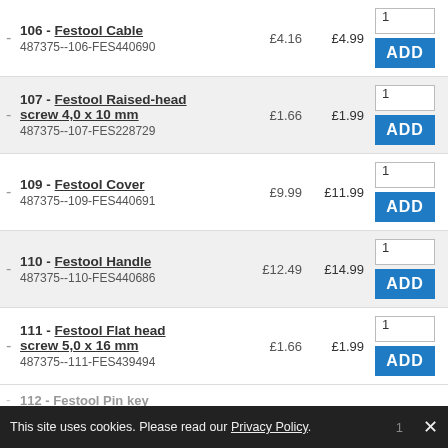106 - Festool Cable
487375--106-FES440690
£4.16  £4.99
107 - Festool Raised-head screw 4,0 x 10 mm
487375--107-FES228729
£1.66  £1.99
109 - Festool Cover
487375--109-FES440691
£9.99  £11.99
110 - Festool Handle
487375--110-FES440686
£12.49  £14.99
111 - Festool Flat head screw 5,0 x 16 mm
487375--111-FES439494
£1.66  £1.99
112 - Festool Pin key
This site uses cookies. Please read our Privacy Policy.